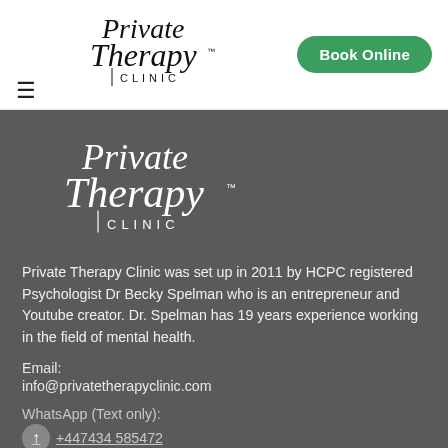[Figure (logo): Private Therapy Clinic logo in header (black script text on white background)]
Book Online
[Figure (logo): Private Therapy Clinic logo large white version on dark grey background]
Private Therapy Clinic was set up in 2011 by HCPC registered Psychologist Dr Becky Spelman who is an entrepreneur and Youtube creator. Dr. Spelman has 19 years experience working in the field of mental health.
Email:
info@privatetherapyclinic.com
WhatsApp (Text only):
+447434 585472